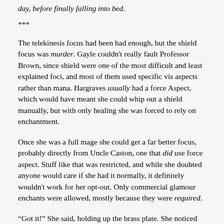day, before finally falling into bed.
***
The telekinesis focus had been bad enough, but the shield focus was murder. Gayle couldn't really fault Professor Brown, since shield were one of the most difficult and least explained foci, and most of them used specific vis aspects rather than mana. Hargraves usually had a force Aspect, which would have meant she could whip out a shield manually, but with only healing she was forced to rely on enchantment.
Once she was a full mage she could get a far better focus, probably directly from Uncle Caston, one that did use force aspect. Stuff like that was restricted, and while she doubted anyone would care if she had it normally, it definitely wouldn't work for her opt-out. Only commercial glamour enchants were allowed, mostly because they were required.
“Got it!” She said, holding up the brass plate. She noticed that Brown hadn’t been working as hard as he usually did, though since he’d brought two working versions for her to